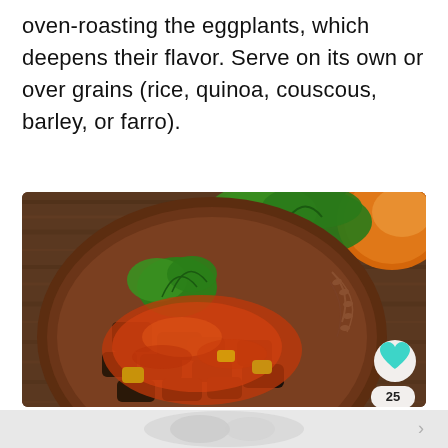oven-roasting the eggplants, which deepens their flavor. Serve on its own or over grains (rice, quinoa, couscous, barley, or farro).
[Figure (photo): Overhead view of a rustic ceramic wooden plate with braised eggplant in tomato sauce garnished with fresh parsley, placed on a wooden surface with tomatoes and herbs in the background. A heart/like button icon and the number 25 appear in the bottom-right corner of the image.]